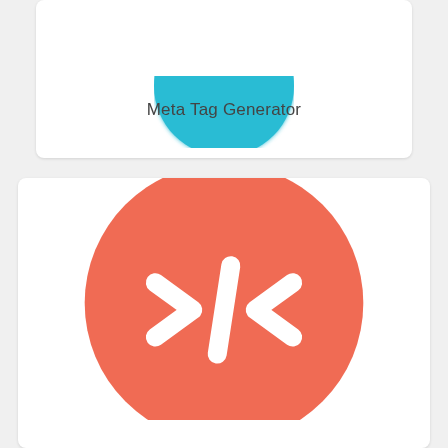[Figure (logo): Partial teal/cyan circular logo at top of first card, cropped at top]
Meta Tag Generator
[Figure (logo): Large coral/salmon-orange circle with white HTML code tag icon (</>) in center, second card]